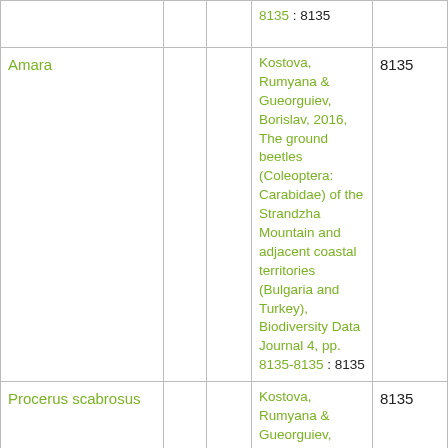|  |  |  | 8135 : 8135 |  |
| Amara |  |  | Kostova, Rumyana & Gueorguiev, Borislav, 2016, The ground beetles (Coleoptera: Carabidae) of the Strandzha Mountain and adjacent coastal territories (Bulgaria and Turkey), Biodiversity Data Journal 4, pp. 8135-8135 : 8135 | 8135 |
| Procerus scabrosus |  |  | Kostova, Rumyana & Gueorguiev, Borislav, 2016, The ground beetles (Coleoptera: Carabidae) of the Strandzha Mountain and adjacent coastal territories (Bulgaria and Turkey), | 8135 |